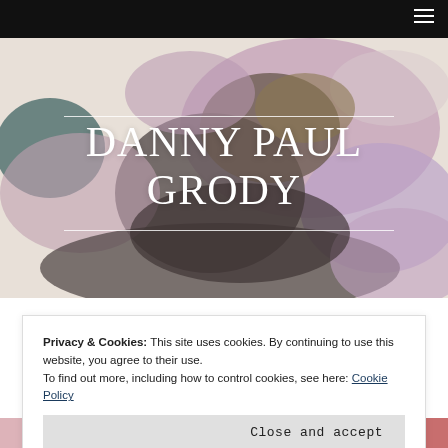[Figure (illustration): Abstract watercolor artwork with muted purple, mauve, dark grey, and teal blobs and brush strokes forming the background of the hero banner]
DANNY PAUL GRODY
Privacy & Cookies: This site uses cookies. By continuing to use this website, you agree to their use.
To find out more, including how to control cookies, see here: Cookie Policy
Close and accept